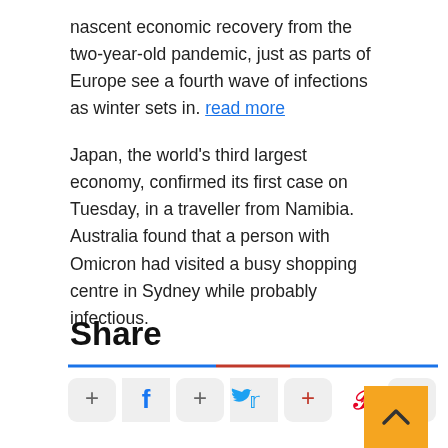nascent economic recovery from the two-year-old pandemic, just as parts of Europe see a fourth wave of infections as winter sets in. read more
Japan, the world’s third largest economy, confirmed its first case on Tuesday, in a traveller from Namibia. Australia found that a person with Omicron had visited a busy shopping centre in Sydney while probably infectious.
Share
[Figure (infographic): Social share buttons row: plus button, Facebook icon, plus button, Twitter bird icon, plus button, Pinterest P icon, LinkedIn in icon. Divider line above in blue and red.]